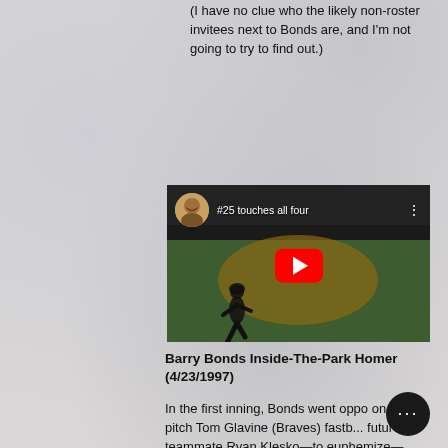(I have no clue who the likely non-roster invitees next to Bonds are, and I'm not going to try to find out.)
[Figure (screenshot): YouTube video thumbnail showing Barry Bonds running bases on a baseball field, with play button overlay, user avatar in top left, and title '#25 touches all four']
Barry Bonds Inside-The-Park Homer (4/23/1997)
In the first inning, Bonds went oppo on a first-pitch Tom Glavine (Braves) fastb... future teammate Ryan Klesko—to euphemize—didn't play the ball real w...